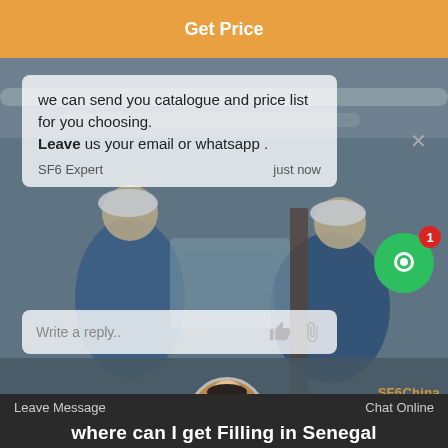Get Price
[Figure (photo): Workers in blue uniforms and hard hats working with industrial equipment, with a semi-transparent chat interface overlay]
we can send you catalogue and price list for you choosing. Leave us your email or whatsapp .
SF6 Expert   just now
Write a reply..
Leave Message   Chat Online
where can I get Filling in Senegal